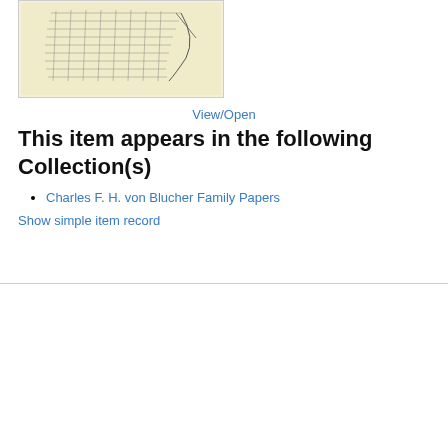[Figure (map): Thumbnail image of a historical grid map/plat, yellowish paper with hand-drawn street grid]
View/Open
This item appears in the following Collection(s)
Charles F. H. von Blucher Family Papers
Show simple item record
DSpace software copyright © 2002-2016  DuraSpace  Contact Us | Send Feedback  Texas Digital Library  Theme by  ATMIRE